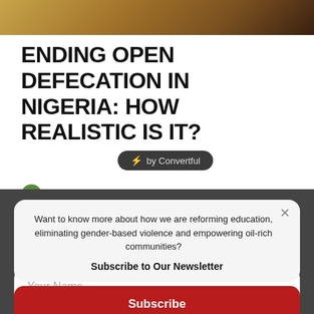[Figure (photo): Top image strip showing a sandy/desert outdoor scene with warm tones]
ENDING OPEN DEFECATION IN NIGERIA: HOW REALISTIC IS IT?
[Figure (logo): by Convertful badge - dark rounded pill with lightning bolt icon]
TITUS THUKURAH   DECEMBER 5, 2025
Want to know more about how we are reforming education, eliminating gender-based violence and empowering oil-rich communities?
Subscribe to Our Newsletter
Your Name
Your Email
Subscribe